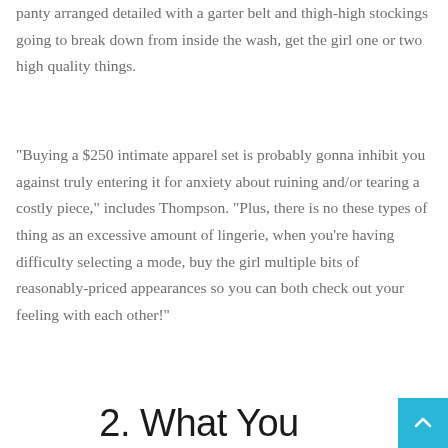panty arranged detailed with a garter belt and thigh-high stockings going to break down from inside the wash, get the girl one or two high quality things.
“Buying a $250 intimate apparel set is probably gonna inhibit you against truly entering it for anxiety about ruining and/or tearing a costly piece,” includes Thompson. “Plus, there is no these types of thing as an excessive amount of lingerie, when you’re having difficulty selecting a mode, buy the girl multiple bits of reasonably-priced appearances so you can both check out your feeling with each other!”
2. What You